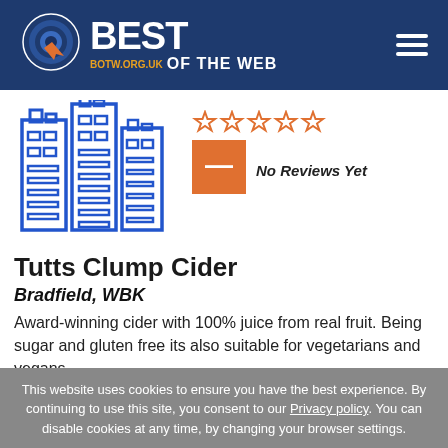[Figure (logo): Best of the Web logo with circular target icon and text BEST OF THE WEB, botw.org.uk]
[Figure (illustration): Blue outline illustration of city buildings/skyscrapers]
[Figure (other): Orange square icon with white minus/dash symbol, and 5 empty star rating with text No Reviews Yet]
Tutts Clump Cider
Bradfield, WBK
Award-winning cider with 100% juice from real fruit. Being sugar and gluten free its also suitable for vegetarians and vegans.
This website uses cookies to ensure you have the best experience. By continuing to use this site, you consent to our Privacy policy. You can disable cookies at any time, by changing your browser settings.